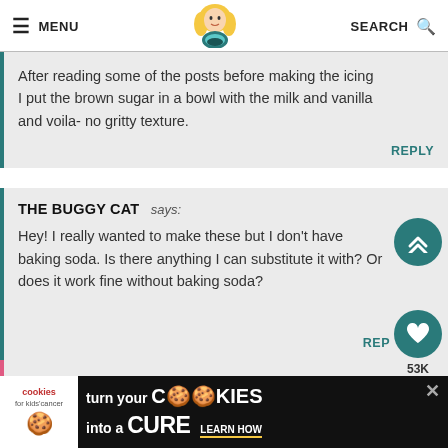≡ MENU | [logo] | SEARCH 🔍
After reading some of the posts before making the icing I put the brown sugar in a bowl with the milk and vanilla and voila- no gritty texture.
REPLY
THE BUGGY CAT says: Hey! I really wanted to make these but I don't have baking soda. Is there anything I can substitute it with? Or does it work fine without baking soda?
REPLY
53K
[Figure (infographic): Advertisement banner: cookies for kids cancer - turn your COOKIES into a CURE LEARN HOW]